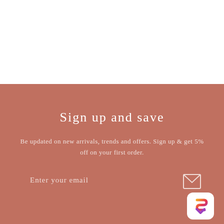Sign up and save
Be updated on new arrivals, trends and offers. Sign up & get 5% off on your first order.
Enter your email
[Figure (infographic): Envelope/mail icon in white outline style]
MENU
[Figure (logo): App icon with colorful S logo on white rounded square background]